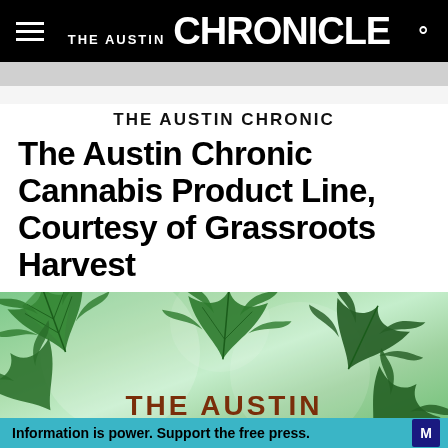THE AUSTIN CHRONICLE
THE AUSTIN CHRONIC
The Austin Chronic Cannabis Product Line, Courtesy of Grassroots Harvest
[Figure (illustration): Cannabis leaves on a green mottled background with text 'THE AUSTIN' overlaid in dark red/brown]
Information is power. Support the free press.